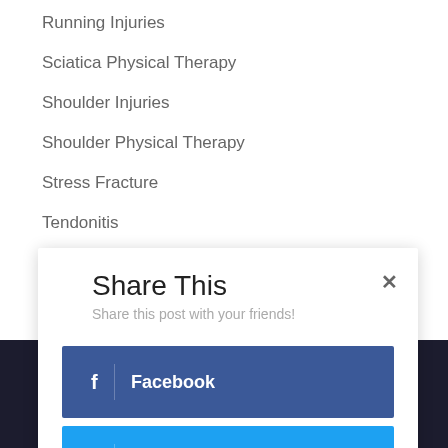Running Injuries
Sciatica Physical Therapy
Shoulder Injuries
Shoulder Physical Therapy
Stress Fracture
Tendonitis
Uncategorized
Share This
Share this post with your friends!
Facebook
Twitter